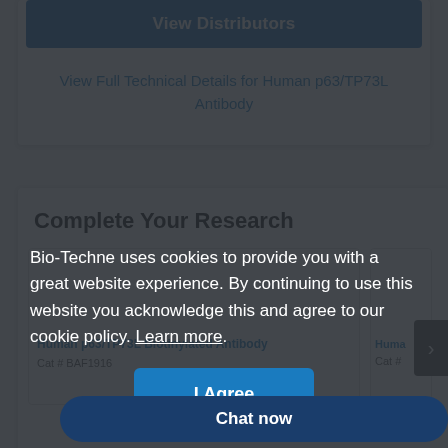View Distributors
View Full Technical Details for Human p63/TP73L Antibody
Complete Your Research
Human p63/TP73L Biotinylated Antibody
Cat # BAF1916
Huma
Cat #
Bio-Techne uses cookies to provide you with a great website experience. By continuing to use this website you acknowledge this and agree to our cookie policy. Learn more.
I Agree
Chat now